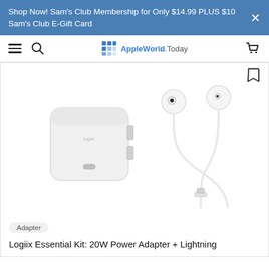Shop Now! Sam's Club Membership for Only $14.99 PLUS $10 Sam's Club E-Gift Card
AppleWorld.Today navigation bar with hamburger menu, search, logo, and cart
[Figure (photo): Product photo showing a white Logiix 20W USB-C power adapter on the left and white EarPods with Lightning connector on the right, on a white background. A bookmark icon is in the top right corner.]
Adapter
Logiix Essential Kit: 20W Power Adapter + Lightning